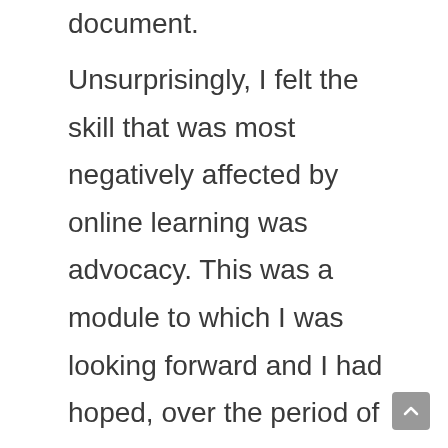document.
Unsurprisingly, I felt the skill that was most negatively affected by online learning was advocacy. This was a module to which I was looking forward and I had hoped, over the period of the course, to get more familiar and comfortable with a courtroom setting and being on my feet. Not having a mock courtroom at home meant that I didn't practice standing on my feet and tackling the annoying habits of swaying and leaning over the lectern in which I